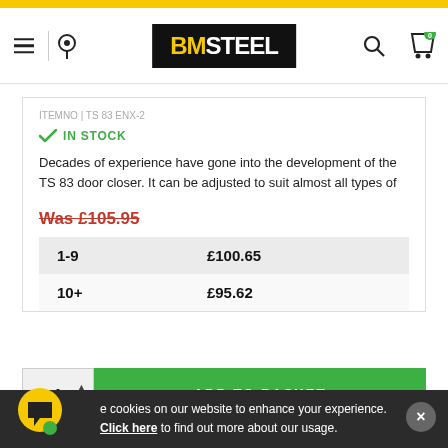[Figure (screenshot): BM Steel e-commerce website header with logo, navigation icons, account button, and yellow top bar]
IN STOCK
Decades of experience have gone into the development of the TS 83 door closer. It can be adjusted to suit almost all types of
Was £105.95
| Quantity | Price |
| --- | --- |
| 1-9 | £100.65 |
| 10+ | £95.62 |
ADD TO BASKET
e cookies on our website to enhance your experience. Click here to find out more about our usage.